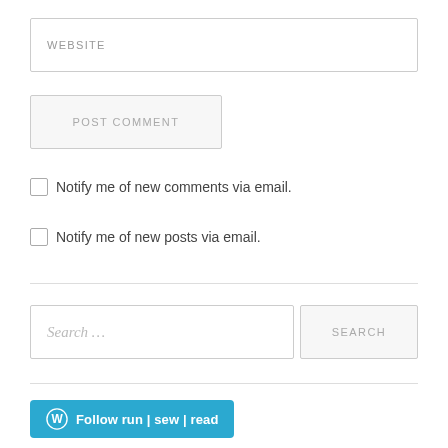WEBSITE
POST COMMENT
Notify me of new comments via email.
Notify me of new posts via email.
Search …
SEARCH
Follow run | sew | read